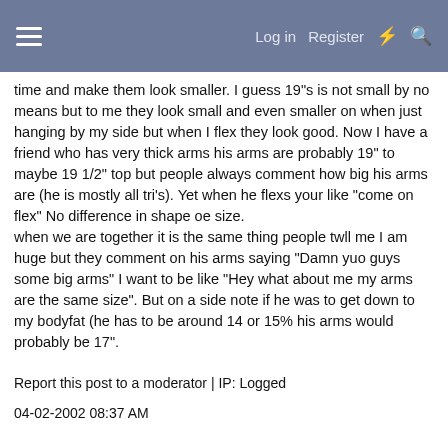Log in  Register
time and make them look smaller. I guess 19"s is not small by no means but to me they look small and even smaller on when just hanging by my side but when I flex they look good. Now I have a friend who has very thick arms his arms are probably 19" to maybe 19 1/2" top but people always comment how big his arms are (he is mostly all tri's). Yet when he flexs your like "come on flex" No difference in shape oe size.
when we are together it is the same thing people twll me I am huge but they comment on his arms saying "Damn yuo guys some big arms" I want to be like "Hey what about me my arms are the same size". But on a side note if he was to get down to my bodyfat (he has to be around 14 or 15% his arms would probably be 17".
Report this post to a moderator | IP: Logged
04-02-2002 08:37 AM